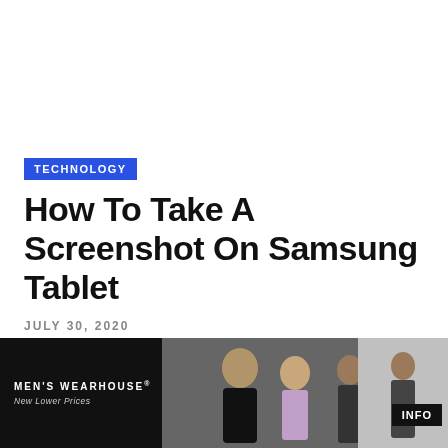TECHNOLOGY
How To Take A Screenshot On Samsung Tablet
JULY 30, 2020
[Figure (screenshot): Social sharing buttons: dark dropdown arrow button, Twitter bird button (blue), and a plus/more button (gray)]
[Figure (photo): Men's Wearhouse advertisement banner showing couple in formal wear, man in suit standing alone, MEN'S WEARHOUSE logo with 'New Lower Prices' tagline, and INFO button]